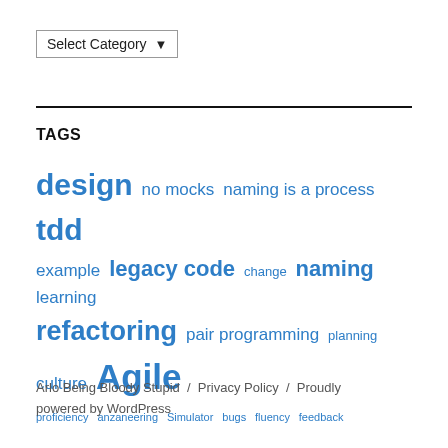Select Category ▾
TAGS
design no mocks naming is a process tdd example legacy code change naming learning refactoring pair programming planning culture Agile proficiency anzaneering Simulator bugs fluency feedback
Arlo Being Bloody Stupid / Privacy Policy / Proudly powered by WordPress